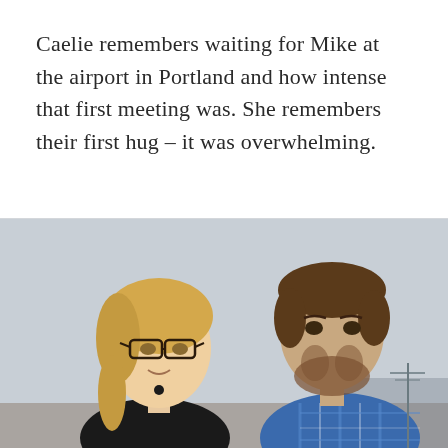Caelie remembers waiting for Mike at the airport in Portland and how intense that first meeting was. She remembers their first hug – it was overwhelming.
[Figure (photo): A young woman with blonde hair in a ponytail and glasses, wearing a black top, faces a young man with short brown hair and a beard wearing a blue and white plaid shirt. They are looking at each other against a light grey sky background.]